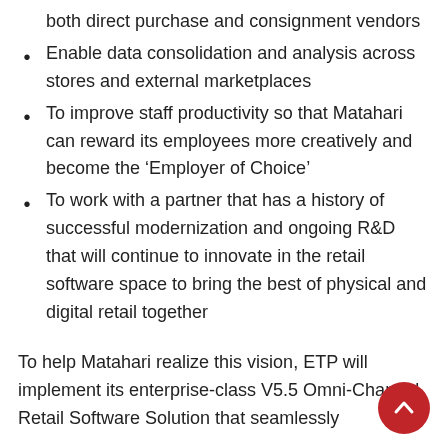both direct purchase and consignment vendors
Enable data consolidation and analysis across stores and external marketplaces
To improve staff productivity so that Matahari can reward its employees more creatively and become the ‘Employer of Choice’
To work with a partner that has a history of successful modernization and ongoing R&D that will continue to innovate in the retail software space to bring the best of physical and digital retail together
To help Matahari realize this vision, ETP will implement its enterprise-class V5.5 Omni-Channel Retail Software Solution that seamlessly